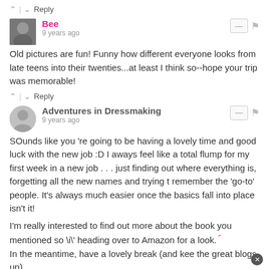^ | v Reply
Bee · 9 years ago
Old pictures are fun! Funny how different everyone looks from late teens into their twenties...at least I think so--hope your trip was memorable!
^ | v Reply
Adventures in Dressmaking · 9 years ago
SOunds like you 're going to be having a lovely time and good luck with the new job :D I aways feel like a total flump for my first week in a new job . . . just finding out where everything is, forgetting all the new names and trying t remember the 'go-to' people. It's always much easier once the basics fall into place isn't it!
I'm really interested to find out more about the book you mentioned so \i\' heading over to Amazon for a look. In the meantime, have a lovely break (and kee the great blogs up)